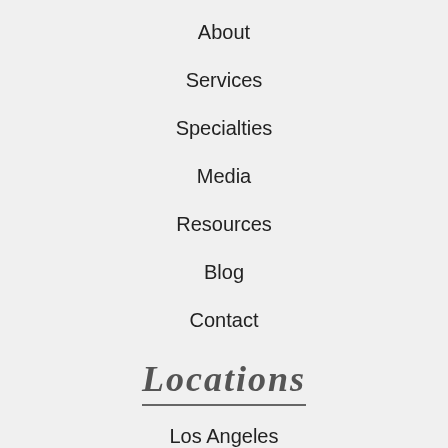About
Services
Specialties
Media
Resources
Blog
Contact
Locations
Los Angeles
Miami
Chicago